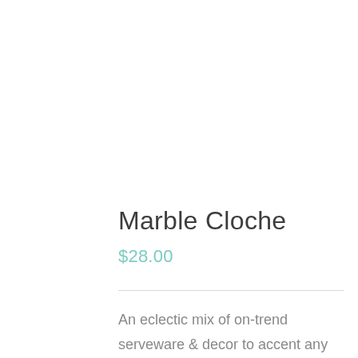Marble Cloche
$28.00
An eclectic mix of on-trend serveware & decor to accent any aesthetic. Hand formed glass and